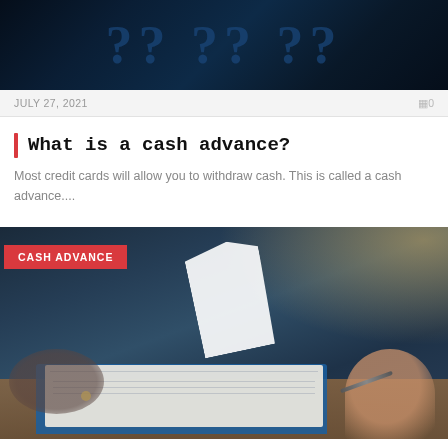[Figure (photo): Dark blue background with large question mark symbols overlaid]
JULY 27, 2021   0
What is a cash advance?
Most credit cards will allow you to withdraw cash. This is called a cash advance....
[Figure (photo): Photo of two people at a desk with clipboard and papers; cash advance badge overlay in red]